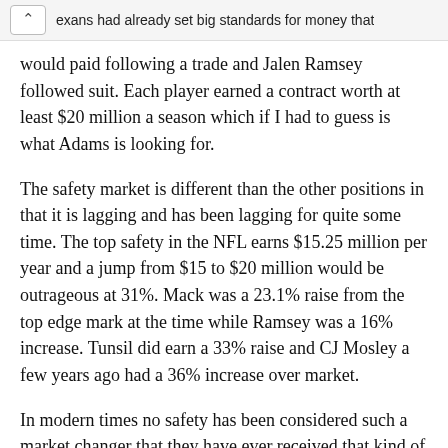exans had already set big standards for money that would paid following a trade and Jalen Ramsey followed suit.
exans had already set big standards for money that would paid following a trade and Jalen Ramsey followed suit. Each player earned a contract worth at least $20 million a season which if I had to guess is what Adams is looking for.
The safety market is different than the other positions in that it is lagging and has been lagging for quite some time. The top safety in the NFL earns $15.25 million per year and a jump from $15 to $20 million would be outrageous at 31%. Mack was a 23.1% raise from the top edge mark at the time while Ramsey was a 16% increase. Tunsil did earn a 33% raise and CJ Mosley a few years ago had a 36% increase over market.
In modern times no safety has been considered such a market changer that they have ever received that kind of raise. I tend to think it is because there are so many good safeties in the league that a drop from a great to a good safety is not a major difference. In modern times the biggest market increase was just 7.7%, which was earned by